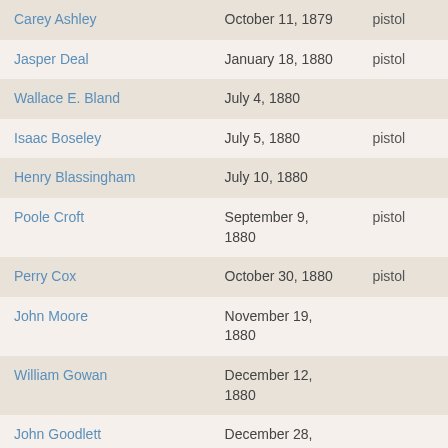| Carey Ashley | October 11, 1879 | pistol |
| Jasper Deal | January 18, 1880 | pistol |
| Wallace E. Bland | July 4, 1880 |  |
| Isaac Boseley | July 5, 1880 | pistol |
| Henry Blassingham | July 10, 1880 |  |
| Poole Croft | September 9, 1880 | pistol |
| Perry Cox | October 30, 1880 | pistol |
| John Moore | November 19, 1880 |  |
| William Gowan | December 12, 1880 |  |
| John Goodlett | December 28, 1880 |  |
| female child, white child | January 21, 1881 |  |